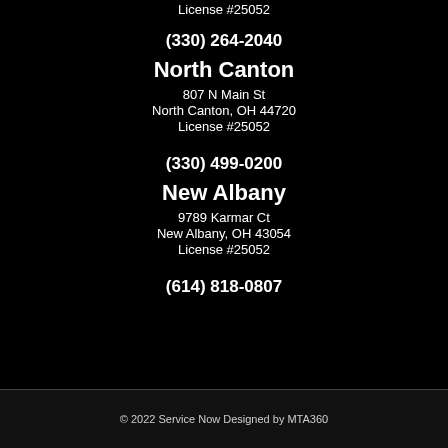License #25052
(330) 264-2040
North Canton
807 N Main St
North Canton, OH 44720
License #25052
(330) 499-0200
New Albany
9789 Karmar Ct
New Albany, OH 43054
License #25052
(614) 818-0807
© 2022 Service Now Designed by MTA360